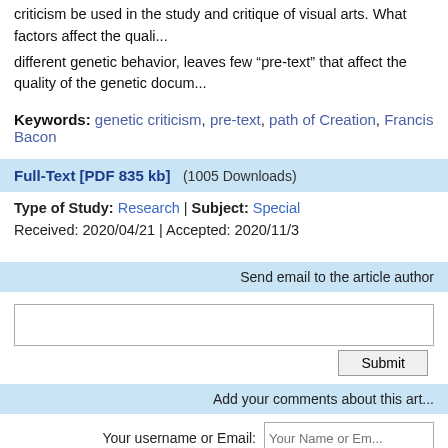criticism be used in the study and critique of visual arts. What factors affect the quality of different genetic behavior, leaves few “pre-text” that affect the quality of the genetic document
Keywords: genetic criticism, pre-text, path of Creation, Francis Bacon
Full-Text [PDF 835 kb]   (1005 Downloads)
Type of Study: Research | Subject: Special
Received: 2020/04/21 | Accepted: 2020/11/3
Send email to the article author
Submit
Add your comments about this article
Your username or Email: